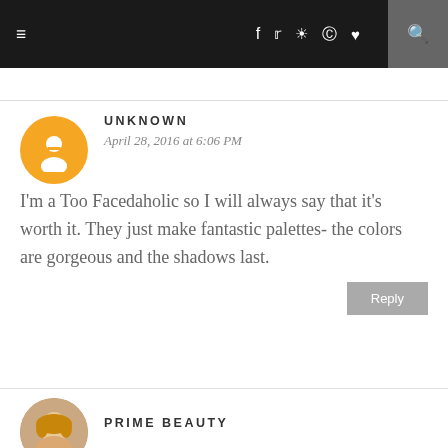≡  f  🐦  📷  🅟  ♥  🔍
UNKNOWN
April 28, 2016 at 6:06 PM
I'm a Too Facedaholic so I will always say that it's worth it. They just make fantastic palettes- the colors are gorgeous and the shadows last.
Reply
PRIME BEAUTY